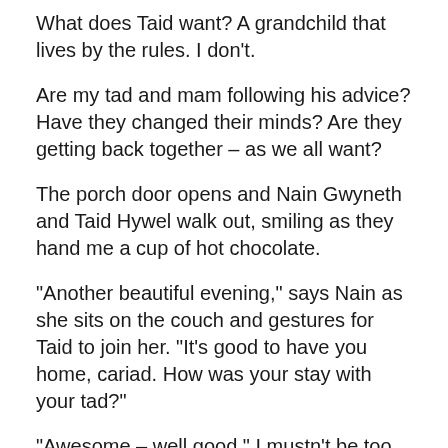What does Taid want? A grandchild that lives by the rules. I don't.
Are my tad and mam following his advice? Have they changed their minds? Are they getting back together – as we all want?
The porch door opens and Nain Gwyneth and Taid Hywel walk out, smiling as they hand me a cup of hot chocolate.
“Another beautiful evening,” says Nain as she sits on the couch and gestures for Taid to join her. “It’s good to have you home, cariad. How was your stay with your tad?”
“Awesome – well good.” I mustn’t be too happy as I want to be at their farm now. Well, I want everyone together. “I enjoy being here at Tyn-y-llyn – in the mountains… swimming in the lake—”